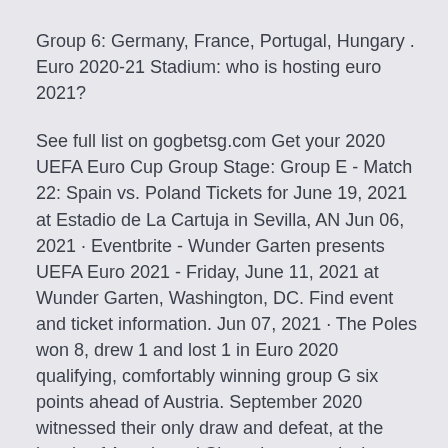Group 6: Germany, France, Portugal, Hungary . Euro 2020-21 Stadium: who is hosting euro 2021?
See full list on gogbetsg.com Get your 2020 UEFA Euro Cup Group Stage: Group E - Match 22: Spain vs. Poland Tickets for June 19, 2021 at Estadio de La Cartuja in Sevilla, AN Jun 06, 2021 · Eventbrite - Wunder Garten presents UEFA Euro 2021 - Friday, June 11, 2021 at Wunder Garten, Washington, DC. Find event and ticket information. Jun 07, 2021 · The Poles won 8, drew 1 and lost 1 in Euro 2020 qualifying, comfortably winning group G six points ahead of Austria. September 2020 witnessed their only draw and defeat, at the hands of Austria and Slovenia respectively, However, four consecutive victories before September and four more